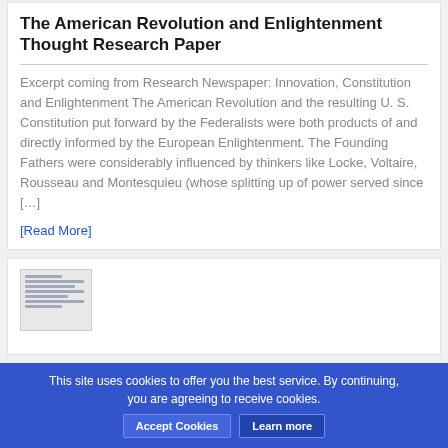The American Revolution and Enlightenment Thought Research Paper
Excerpt coming from Research Newspaper: Innovation, Constitution and Enlightenment The American Revolution and the resulting U. S. Constitution put forward by the Federalists were both products of and directly informed by the European Enlightenment. The Founding Fathers were considerably influenced by thinkers like Locke, Voltaire, Rousseau and Montesquieu (whose splitting up of power served since […]
[Read More]
[Figure (screenshot): Thumbnail preview of a document page with text lines]
This site uses cookies to offer you the best service. By continuing, you are agreeing to receive cookies.